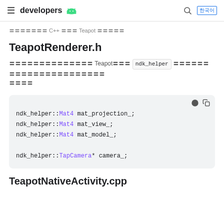developers [android logo]
〓〓〓〓〓〓〓 C++ 〓〓〓 Teapot 〓〓〓〓〓
TeapotRenderer.h
〓〓〓〓〓〓〓〓〓〓〓〓〓〓 Teapot〓〓〓 ndk_helper 〓〓〓〓〓〓〓〓〓〓〓〓〓〓〓〓〓〓〓〓〓〓 〓〓〓〓
[Figure (screenshot): Code block showing C++ member variable declarations: ndk_helper::Mat4 mat_projection_; ndk_helper::Mat4 mat_view_; ndk_helper::Mat4 mat_model_; ndk_helper::TapCamera* camera_;]
TeapotNativeActivity.cpp